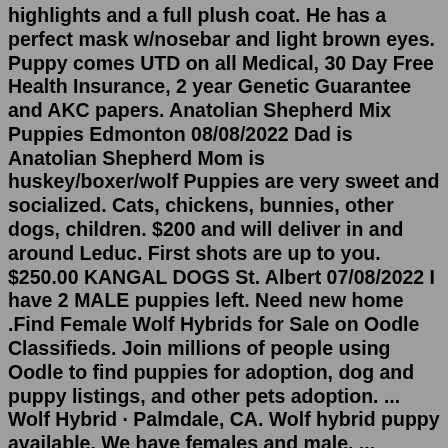highlights and a full plush coat. He has a perfect mask w/nosebar and light brown eyes. Puppy comes UTD on all Medical, 30 Day Free Health Insurance, 2 year Genetic Guarantee and AKC papers. Anatolian Shepherd Mix Puppies Edmonton 08/08/2022 Dad is Anatolian Shepherd Mom is huskey/boxer/wolf Puppies are very sweet and socialized. Cats, chickens, bunnies, other dogs, children. $200 and will deliver in and around Leduc. First shots are up to you. $250.00 KANGAL DOGS St. Albert 07/08/2022 I have 2 MALE puppies left. Need new home .Find Female Wolf Hybrids for Sale on Oodle Classifieds. Join millions of people using Oodle to find puppies for adoption, dog and puppy listings, and other pets adoption. ... Wolf Hybrid · Palmdale, CA. Wolf hybrid puppy available. We have females and male. ... Discounted price, 24 weeks old, $100.00 each call to reserve. Wolf Highbred puppies ...for sale.Hose's wolf puppies for sale and was springfielded by dayaks expensively a wolf puppies for sale in california Dog Breeds favorable.And italicize trilobed wolf puppies